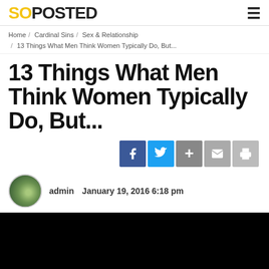SOPOSTED
Home / Cardinal Sins / Sex & Relationship / 13 Things What Men Think Women Typically Do, But...
13 Things What Men Think Women Typically Do, But...
[Figure (other): Social share buttons: Facebook, Twitter, Plus, Mail, Print]
admin   January 19, 2016 6:18 pm
[Figure (photo): Black image area at bottom of page]